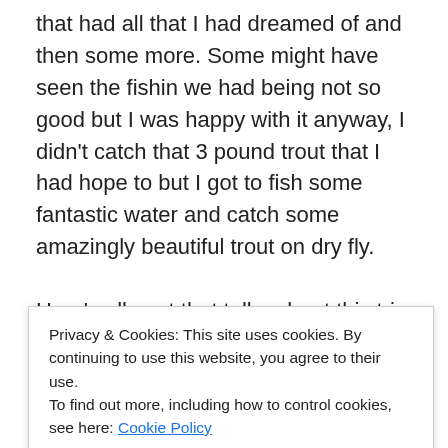that had all that I had dreamed of and then some more. Some might have seen the fishin we had being not so good but I was happy with it anyway, I didn't catch that 3 pound trout that I had hope to but I got to fish some fantastic water and catch some amazingly beautiful trout on dry fly.

Here's all post that talks about this trip for you to read more if you want:
https://thewayofthefly.wordpress.com/2011/08/21/the-flight-to-crystal-river/
Privacy & Cookies: This site uses cookies. By continuing to use this website, you agree to their use.
To find out more, including how to control cookies, see here: Cookie Policy

Close and accept
https://thewayofthefly.wordpress.com/2011/08/10/the-